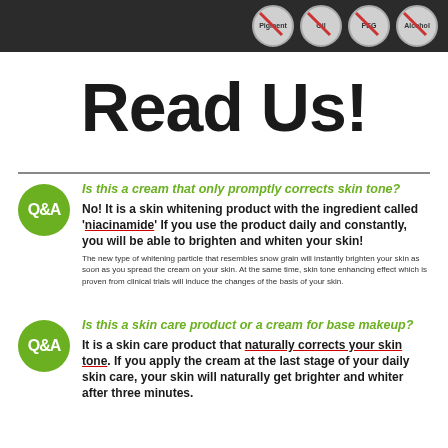[Figure (infographic): Dark top bar with four circular icons showing crossed-out ingredients: Pigment, Oil, PEG, Alcohol]
Read Us!
Is this a cream that only promptly corrects skin tone?
No! It is a skin whitening product with the ingredient called 'niacinamide' If you use the product daily and constantly, you will be able to brighten and whiten your skin!
The new type of whitening particle that resembles snow grain will instantly brighten your skin as soon as you spread the cream on your skin. At the same time, skin tone enhancing effect which is proven from clinical trials will induce the changes of the basis of your skin.
Is this a skin care product or a cream for base makeup?
It is a skin care product that naturally corrects your skin tone. If you apply the cream at the last stage of your daily skin care, your skin will naturally get brighter and whiter after three minutes.